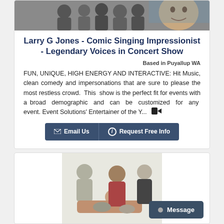[Figure (photo): Group of performers/entertainers at the top of the first card]
Larry G Jones - Comic Singing Impressionist - Legendary Voices in Concert Show
Based in Puyallup WA
FUN, UNIQUE, HIGH ENERGY AND INTERACTIVE: Hit Music, clean comedy and impersonations that are sure to please the most restless crowd.  This  show is the perfect fit for events with a broad  demographic  and  can  be  customized  for  any  event. Event Solutions' Entertainer of the Y...
Email Us  |  Request Free Info
[Figure (photo): Group of four people posing for a photo at the bottom card]
Message